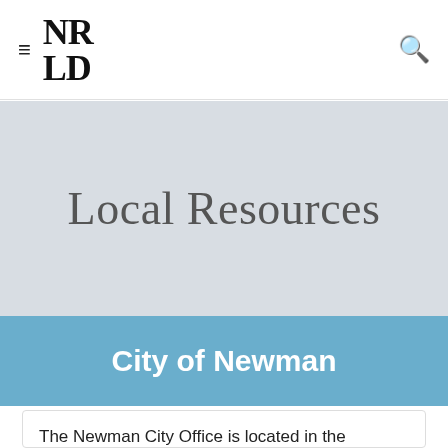≡ NR LD 🔍
Local Resources
City of Newman
The Newman City Office is located in the